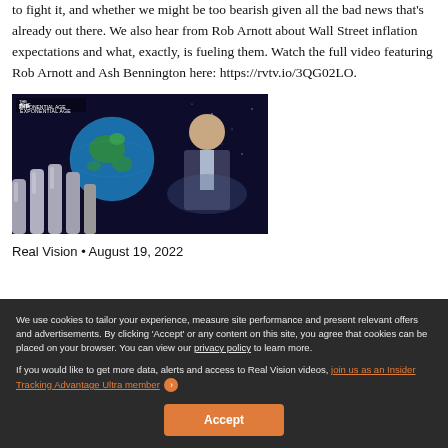to fight it, and whether we might be too bearish given all the bad news that's already out there. We also hear from Rob Arnott about Wall Street inflation expectations and what, exactly, is fueling them. Watch the full video featuring Rob Arnott and Ash Bennington here: https://rvtv.io/3QG02LO.
[Figure (photo): Thumbnail image showing a robotic hand holding a globe with a man in a suit in the background, labeled 'The Exponential Age']
Real Vision • August 19, 2022
We use cookies to tailor your experience, measure site performance and present relevant offers and advertisements. By clicking 'Accept' or any content on this site, you agree that cookies can be placed on your browser. You can view our privacy policy to learn more.

If you would like to get more data, alerts and access to Real Vision videos, join us as an Insider Tracking Advantage Ultra member
Accept